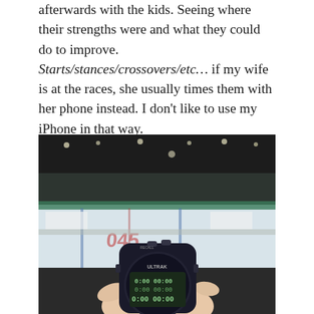afterwards with the kids. Seeing where their strengths were and what they could do to improve. Starts/stances/crossovers/etc… if my wife is at the races, she usually times them with her phone instead. I don't like to use my iPhone in that way.
[Figure (photo): A hand holding a digital stopwatch/timer (Ultrak brand) showing 0:00 00:00 times, with an ice hockey rink visible in the background.]